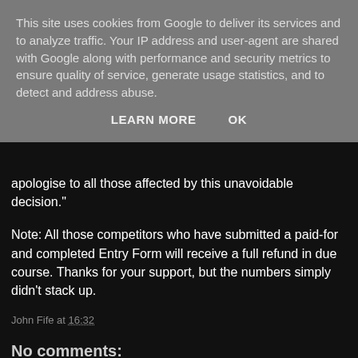This site uses cookies from Google to deliver its services and to analyze traffic. Your IP address and user-agent are shared with Google along with performance and security metrics to ensure quality of service, generate usage statistics, and to detect and address abuse.
LEARN MORE   OK
apologise to all those affected by this unavoidable decision."
Note: All those competitors who have submitted a paid-for and completed Entry Form will receive a full refund in due course. Thanks for your support, but the numbers simply didn’t stack up.
John Fife at 16:32
No comments:
Post a Comment